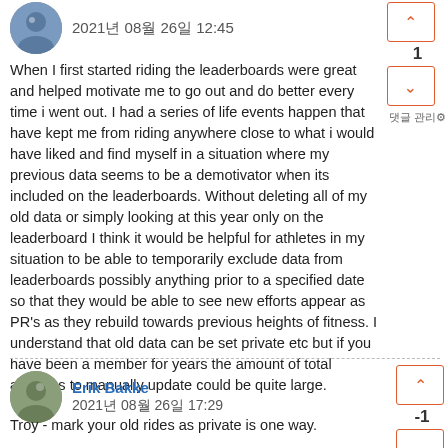2021년 08월 26일 12:45
When I first started riding the leaderboards were great and helped motivate me to go out and do better every time i went out. I had a series of life events happen that have kept me from riding anywhere close to what i would have liked and find myself in a situation where my previous data seems to be a demotivator when its included on the leaderboards. Without deleting all of my old data or simply looking at this year only on the leaderboard I think it would be helpful for athletes in my situation to be able to temporarily exclude data from leaderboards possibly anything prior to a specified date so that they would be able to see new efforts appear as PR's as they rebuild towards previous heights of fitness. I understand that old data can be set private etc but if you have been a member for years the amount of total activities to manually update could be quite large.
Erik Bakke
2021년 08월 26일 17:29
Troy - mark your old rides as private is one way.